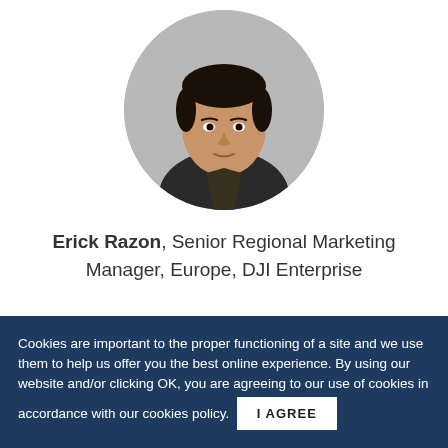[Figure (photo): Circular cropped headshot photo of a young man with dark hair, wearing a dark shirt, against a grey background]
Erick Razon, Senior Regional Marketing Manager, Europe, DJI Enterprise
Register
Cookies are important to the proper functioning of a site and we use them to help us offer you the best online experience. By using our website and/or clicking OK, you are agreeing to our use of cookies in accordance with our cookies policy. I AGREE